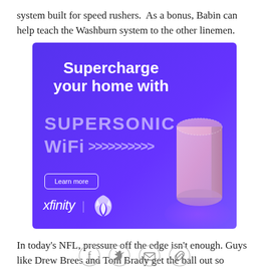system built for speed rushers.  As a bonus, Babin can help teach the Washburn system to the other linemen.
[Figure (illustration): Xfinity advertisement with purple background promoting Supersonic WiFi, showing a WiFi router device and 'Learn more' button with xfinity and Philadelphia Eagles logos]
In today's NFL, pressure off the edge isn't enough. Guys like Drew Brees and Tom Brady get the ball out so quickly that you must get pressure up the middle.  The
[Figure (other): Social media sharing icons: Facebook, Twitter, email, and link]